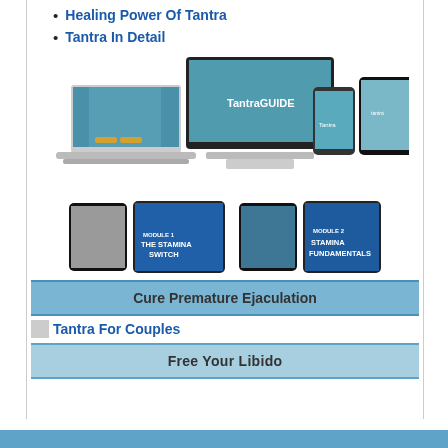Healing Power Of Tantra
Tantra In Detail
[Figure (screenshot): Product mockup showing TantraGUIDe website on desktop monitor, laptop, smartphone, and tablet devices]
[Figure (screenshot): Two ebook/module covers: 'The Stamina Switch' and 'Stamina Fundamentals' shown on tablet devices]
Cure Premature Ejaculation
Tantra For Couples
Free Your Libido